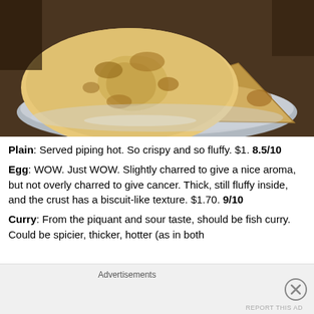[Figure (photo): Close-up photo of flatbread (roti/paratha) on a metal plate, golden-brown with crispy texture]
Plain: Served piping hot. So crispy and so fluffy. $1. 8.5/10
Egg: WOW. Just WOW. Slightly charred to give a nice aroma, but not overly charred to give cancer. Thick, still fluffy inside, and the crust has a biscuit-like texture. $1.70. 9/10
Curry: From the piquant and sour taste, should be fish curry. Could be spicier, thicker, hotter (as in both
Advertisements